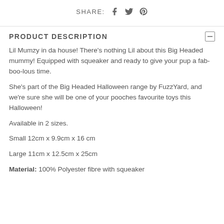SHARE: [facebook] [twitter] [pinterest]
PRODUCT DESCRIPTION
Lil Mumzy in da house! There's nothing Lil about this Big Headed mummy! Equipped with squeaker and ready to give your pup a fab-boo-lous time.
She's part of the Big Headed Halloween range by FuzzYard, and we're sure she will be one of your pooches favourite toys this Halloween!
Available in 2 sizes.
Small 12cm x 9.9cm x 16 cm
Large 11cm x 12.5cm x 25cm
Material: 100% Polyester fibre with squeaker